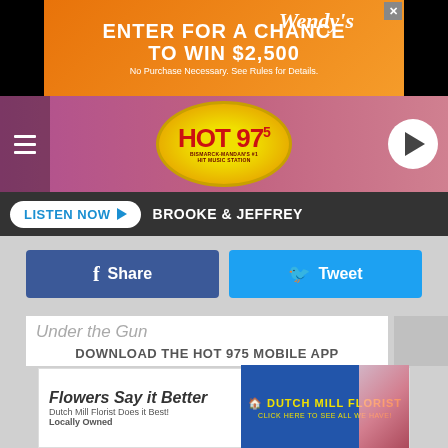[Figure (infographic): Wendy's promotional ad banner - orange gradient background, text 'ENTER FOR A CHANCE TO WIN $2,500' with Wendy's logo]
[Figure (logo): HOT 97.5 Bismarck-Mandan's #1 Hit Music Station logo on pink/purple hexagon background with hamburger menu and play button]
LISTEN NOW ▶ BROOKE & JEFFREY
[Figure (infographic): Facebook Share button (blue) and Twitter Tweet button (cyan) side by side]
Under the Gun
DOWNLOAD THE HOT 975 MOBILE APP
July 7
Begum Jaan
GET OUR FREE MOBILE APP
July 8
Our Kind of Traitor
Also listen on: amazon alexa
[Figure (infographic): Dutch Mill Florist ad - 'Flowers Say it Better' with flowers image and Dutch Mill Florist branding]